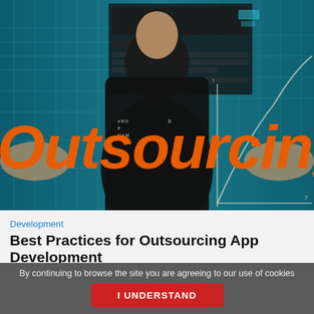[Figure (photo): Hero image of a businessman in a dark suit with outstretched hands, overlaid with digital/mathematical graphics on a teal/blue background. The word 'Outsourcing' in large orange italic text is overlaid on the image.]
Development
Best Practices for Outsourcing App Development
Best Practices for Outsourcing App Development
Outsourcing remains the most compelling value proposition
By continuing to browse the site you are agreeing to our use of cookies
I UNDERSTAND